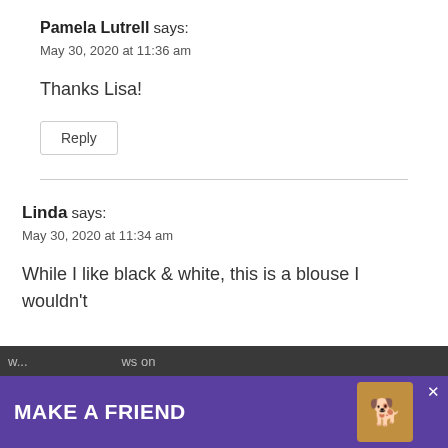Pamela Lutrell says:
May 30, 2020 at 11:36 am
Thanks Lisa!
Reply
Linda says:
May 30, 2020 at 11:34 am
While I like black & white, this is a blouse I wouldn't
[Figure (screenshot): Advertisement banner at bottom of page: purple background with 'MAKE A FRIEND' text, dog illustration, close button, partially obscured page content beneath]